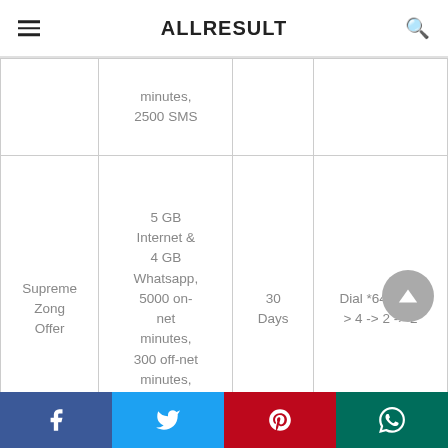ALLRESULT
|  | Details | Validity | Subscribe |
| --- | --- | --- | --- |
|  | minutes, 2500 SMS |  |  |
| Supreme Zong Offer | 5 GB Internet & 4 GB Whatsapp, 5000 on-net minutes, 300 off-net minutes, 5000 SMS | 30 Days | Dial *6464#, -> 4 -> 2 -> 2 |
|  |  |  |  |
Facebook Twitter Pinterest WhatsApp